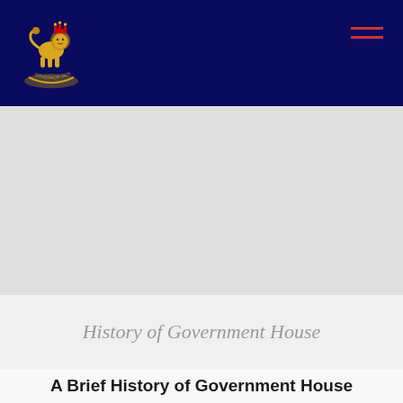Government House — navigation bar with logo and menu
[Figure (logo): Government House official crest/logo — gold lion and crown emblem on dark navy background, top-left of navigation bar]
History of Government House
A Brief History of Government House